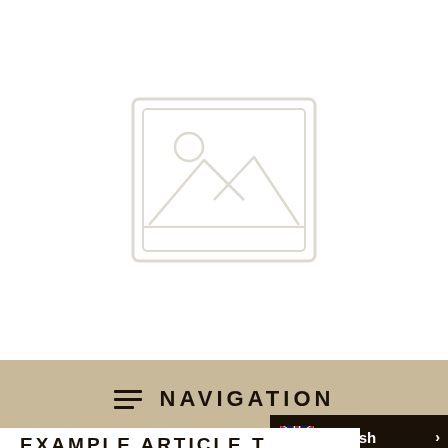[Figure (illustration): Image placeholder icon — a rounded rectangle outline containing a small circle (sun) and mountain landscape silhouette, rendered in light gray/white tones on white background]
NAVIGATION
English
EXAMPLE ARTICLE T